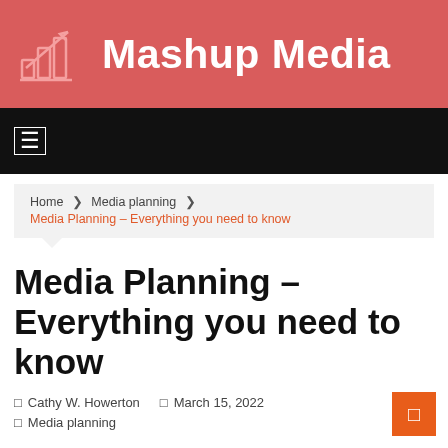Mashup Media
[Figure (screenshot): Black navigation bar with a white hamburger/menu icon on the left]
Home ❯ Media planning ❯ Media Planning – Everything you need to know
Media Planning – Everything you need to know
□ Cathy W. Howerton   □ March 15, 2022
□ Media planning